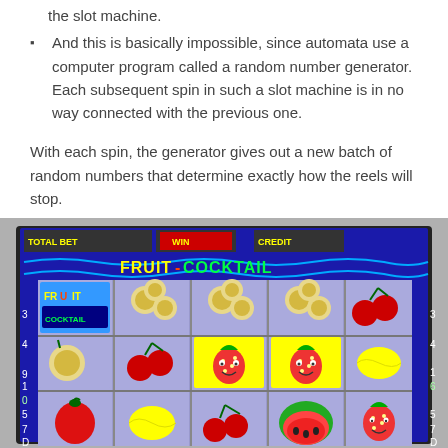the slot machine.
And this is basically impossible, since automata use a computer program called a random number generator. Each subsequent spin in such a slot machine is in no way connected with the previous one.
With each spin, the generator gives out a new batch of random numbers that determine exactly how the reels will stop.
[Figure (photo): A Fruit Cocktail slot machine screen showing colorful fruit symbols including strawberries, cherries, melons, lemons, and apples on 5 reels with 3 rows. The machine shows TOTAL BET, WIN, and CREDIT displays at the top.]